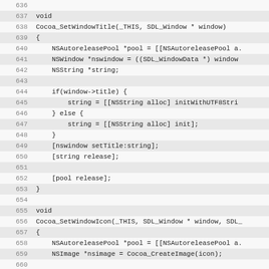[Figure (screenshot): Source code listing in monospace font showing C/Objective-C code for Cocoa_SetWindowTitle and Cocoa_SetWindowIcon functions, lines 636-667, with alternating highlighted and plain background rows for even/odd lines.]